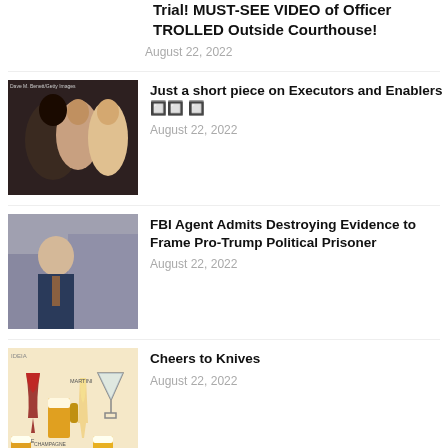Trial! MUST-SEE VIDEO of Officer TROLLED Outside Courthouse!
August 22, 2022
[Figure (photo): Photo of two people at an event with Getty Images watermark]
Just a short piece on Executors and Enablers 🔲🔲 🔲
August 22, 2022
[Figure (photo): Photo of a man in a suit being interviewed outdoors]
FBI Agent Admits Destroying Evidence to Frame Pro-Trump Political Prisoner
August 22, 2022
[Figure (illustration): Illustration of hands holding various drinks - wine, champagne, beer, martini]
Cheers to Knives
August 22, 2022
[Figure (photo): Partial photo with 'Intuive' text overlay]
Democrats > Release All January